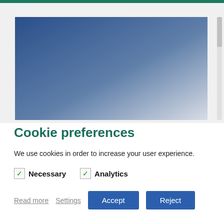[Figure (illustration): A blue-to-light-grey gradient rectangle representing a background image area behind a cookie consent dialog, with a browser scrollbar visible on the right.]
Cookie preferences
We use cookies in order to increase your user experience.
Necessary (checked)
Analytics (checked)
Read more  Settings  Accept  Reject